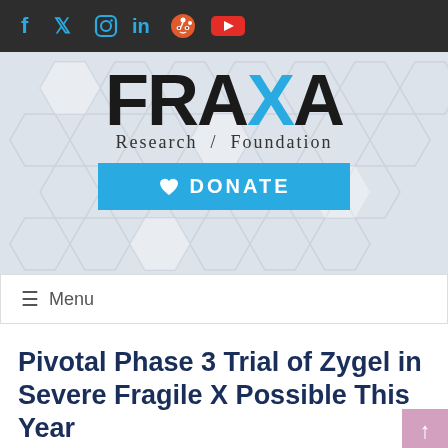[Figure (screenshot): Social media icons bar: Facebook, Twitter, Instagram, LinkedIn, Reddit, YouTube on dark background]
[Figure (logo): FRAXA Research Foundation logo with blue X and DONATE button on hexagon patterned background]
≡  Menu
Pivotal Phase 3 Trial of Zygel in Severe Fragile X Possible This Year
Fragile X News Today   Research Updates